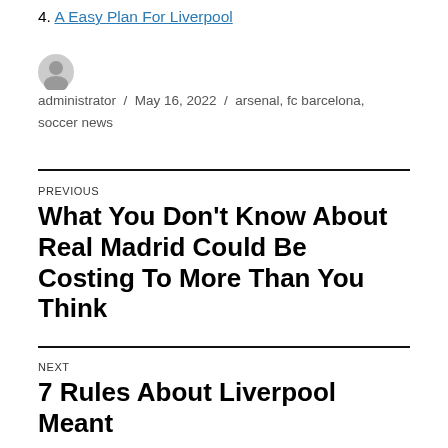4. A Easy Plan For Liverpool
administrator / May 16, 2022 / arsenal, fc barcelona, soccer news
PREVIOUS
What You Don't Know About Real Madrid Could Be Costing To More Than You Think
NEXT
7 Rules About Liverpool Meant